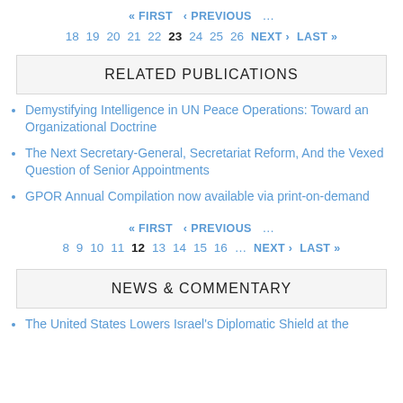« FIRST  ‹ PREVIOUS  …  18 19 20 21 22 23 24 25 26  NEXT ›  LAST »
RELATED PUBLICATIONS
Demystifying Intelligence in UN Peace Operations: Toward an Organizational Doctrine
The Next Secretary-General, Secretariat Reform, And the Vexed Question of Senior Appointments
GPOR Annual Compilation now available via print-on-demand
« FIRST  ‹ PREVIOUS  …  8 9 10 11 12 13 14 15 16 …  NEXT ›  LAST »
NEWS & COMMENTARY
The United States Lowers Israel's Diplomatic Shield at the